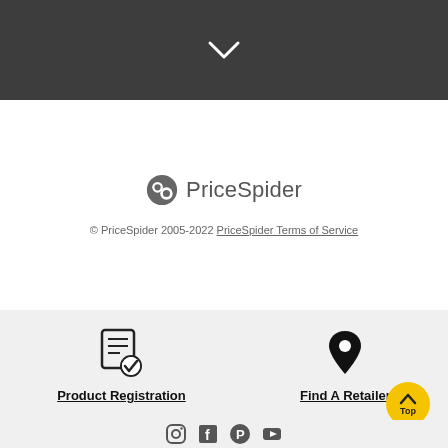[Figure (other): Dark gray header bar with a white downward chevron/arrow icon centered in it]
[Figure (logo): PriceSpider logo: circular icon with a spider web-like graphic followed by the text 'PriceSpider' in gray]
© PriceSpider 2005-2022 PriceSpider Terms of Service
[Figure (other): Light gray section with product registration icon (document with checkmark) on the left and a map pin icon on the right]
Product Registration
Find A Retailer
[Figure (other): Yellow circular 'Top' button with an upward arrow in the bottom right corner]
[Figure (other): Social media icons row at the bottom (Instagram, Facebook, Pinterest, YouTube)]